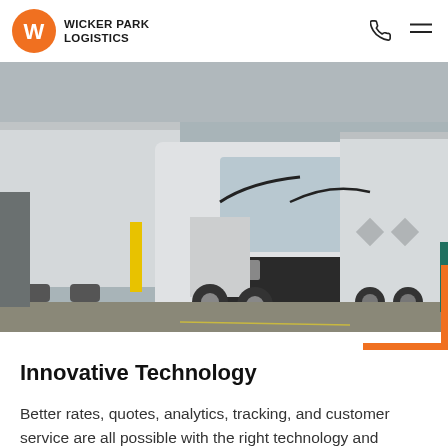WICKER PARK LOGISTICS
[Figure (photo): A large white semi-truck with black accents parked at a freight dock, with two white trailers visible on either side. There are yellow bollards and a loading area visible. An orange corner bracket decoration overlays the bottom-right of the image.]
Innovative Technology
Better rates, quotes, analytics, tracking, and customer service are all possible with the right technology and platforms. Maximizing the value and effectiveness of